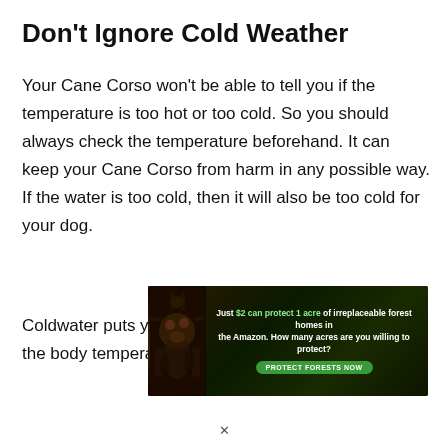Don't Ignore Cold Weather
Your Cane Corso won't be able to tell you if the temperature is too hot or too cold. So you should always check the temperature beforehand. It can keep your Cane Corso from harm in any possible way. If the water is too cold, then it will also be too cold for your dog.
Coldwater puts your dog at risk of hypothermia and the body temperature falls below the normal
[Figure (infographic): Advertisement banner: 'Just $2 can protect 1 acre of irreplaceable forest homes in the Amazon. How many acres are you willing to protect?' with a green PROTECT FORESTS NOW button and an image of an animal in a forest.]